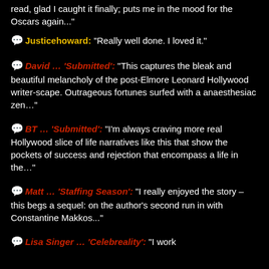read, glad I caught it finally; puts me in the mood for the Oscars again..."
Justicehoward: "Really well done. I loved it."
David ... 'Submitted': "This captures the bleak and beautiful melancholy of the post-Elmore Leonard Hollywood writer-scape. Outrageous fortunes surfed with a anaesthesiac zen..."
BT ... 'Submitted': "I'm always craving more real Hollywood slice of life narratives like this that show the pockets of success and rejection that encompass a life in the..."
Matt ... 'Staffing Season': "I really enjoyed the story – this begs a sequel: on the author's second run in with Constantine Makkos..."
Lisa Singer ... 'Celebreality': "I work